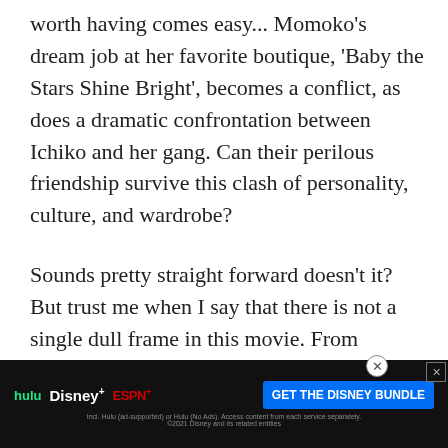worth having comes easy... Momoko's dream job at her favorite boutique, 'Baby the Stars Shine Bright', becomes a conflict, as does a dramatic confrontation between Ichiko and her gang. Can their perilous friendship survive this clash of personality, culture, and wardrobe?
Sounds pretty straight forward doesn't it? But trust me when I say that there is not a single dull frame in this movie. From beginning to end the screen is filled with color and motion and energy and animated farts. Real life turns to daydreams of Mo[...] one cha[...]
[Figure (other): Advertisement banner for Disney Bundle: Hulu, Disney+, ESPN+ logos with 'GET THE DISNEY BUNDLE' CTA button and fine print about subscription terms. ©2021 Disney and its related entities.]